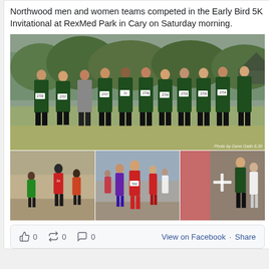Northwood men and women teams competed in the Early Bird 5K Invitational at RexMed Park in Cary on Saturday morning.
[Figure (photo): Group photo of Northwood cross country team in green uniforms with race bibs (numbers 2709, 2707, 2706, 2704, 2703, 2700, 2704 visible) standing on a grass field. Photo credit: Photo by Gene Galin 8.20]
[Figure (photo): Three action photos of runners at the Early Bird 5K Invitational. Left: runners on dirt path. Middle: runners in a pack on course. Right: Northwood runners with a plus icon overlay indicating more photos.]
0   0   0   View on Facebook · Share